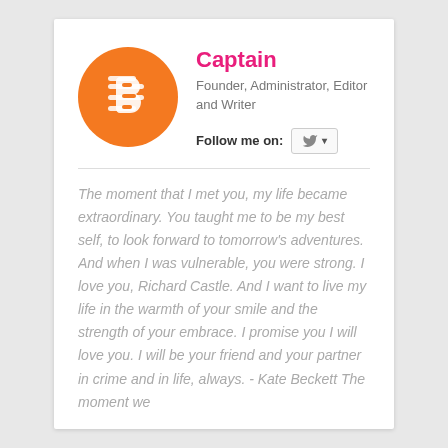[Figure (logo): Blogger logo: white B icon inside an orange circle]
Captain
Founder, Administrator, Editor and Writer
Follow me on: [Twitter button with dropdown]
The moment that I met you, my life became extraordinary. You taught me to be my best self, to look forward to tomorrow's adventures. And when I was vulnerable, you were strong. I love you, Richard Castle. And I want to live my life in the warmth of your smile and the strength of your embrace. I promise you I will love you. I will be your friend and your partner in crime and in life, always. - Kate Beckett The moment we